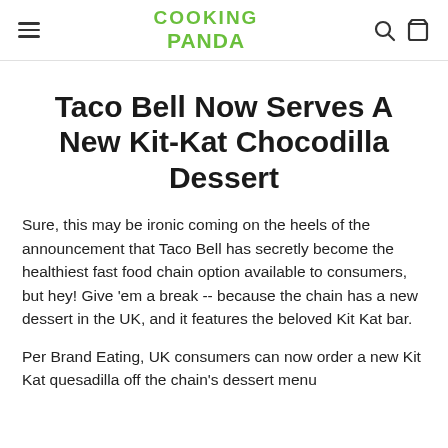COOKING PANDA
Taco Bell Now Serves A New Kit-Kat Chocodilla Dessert
Sure, this may be ironic coming on the heels of the announcement that Taco Bell has secretly become the healthiest fast food chain option available to consumers, but hey! Give 'em a break -- because the chain has a new dessert in the UK, and it features the beloved Kit Kat bar.
Per Brand Eating, UK consumers can now order a new Kit Kat quesadilla off the chain's dessert menu